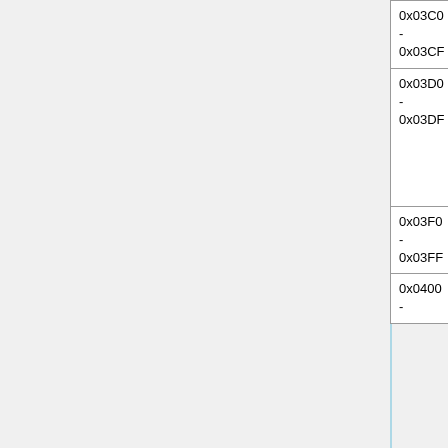| Address | Name | Description |
| --- | --- | --- |
| 0x03C0 - 0x03CF | Attributes | • 0x40 = damage hitbox active
• 0x20 = able to be bubbled |
| 0x03D0 - 0x03DF | Direction of movement | Speed values above are scalars. They are used in conjunction with this value to determine velocity.
• 0x08 = up
• 0x04 = down
• 0x02 = right
• 0x01 = left |
| 0x03F0 - 0x03FF | HP |  |
| 0x0400 - | Sprite orientation | • 0x40 = Horizontal flip |